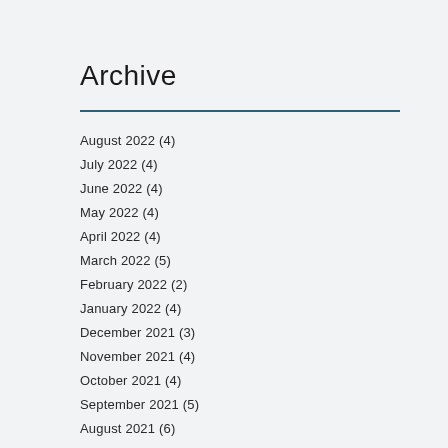Archive
August 2022 (4)
July 2022 (4)
June 2022 (4)
May 2022 (4)
April 2022 (4)
March 2022 (5)
February 2022 (2)
January 2022 (4)
December 2021 (3)
November 2021 (4)
October 2021 (4)
September 2021 (5)
August 2021 (6)
July 2021 (6)
June 2021 (5)